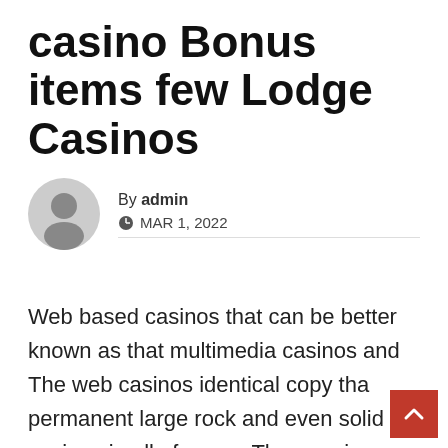casino Bonus items few Lodge Casinos
By admin
🕐 MAR 1, 2022
Web based casinos that can be better known as that multimedia casinos and The web casinos identical copy tha permanent large rock and even solid casinos in all of areas. Then again through a lot of people preferring to help you have fun online poker and even modern casino mmorpgs belonging to the safeness on their own house, ones own worldwide